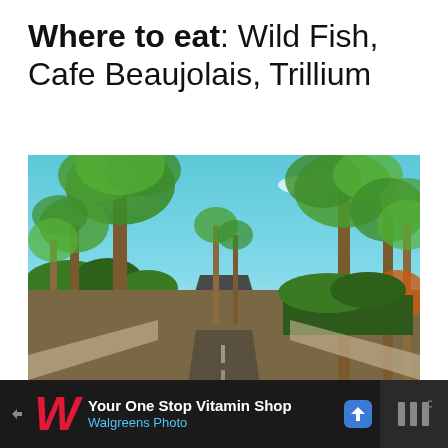Where to eat: Wild Fish, Cafe Beaujolais, Trillium
[Figure (photo): A palm-tree-lined road receding into the distance under a bright blue sky with scattered clouds. Lush green palm trees and hedges line both sides of the empty asphalt road. Desert landscaping visible on the sides.]
[Figure (infographic): Advertisement banner: Walgreens 'Your One Stop Vitamin Shop / Walgreens Photo' ad with red Walgreens W logo, blue navigation arrow icon, and dark right panel with three vertical bars icon.]